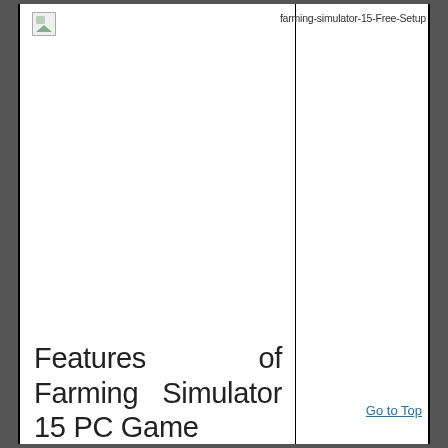farming-simulator-15-Free-Setup
[Figure (illustration): Broken image placeholder icon in top-left corner]
Features of Farming Simulator 15 PC Game
Go to Top